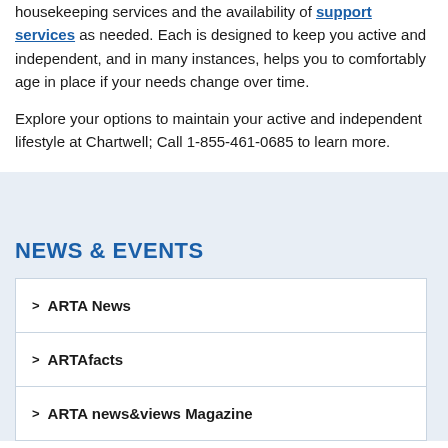housekeeping services and the availability of support services as needed. Each is designed to keep you active and independent, and in many instances, helps you to comfortably age in place if your needs change over time.
Explore your options to maintain your active and independent lifestyle at Chartwell; Call 1-855-461-0685 to learn more.
NEWS & EVENTS
ARTA News
ARTAfacts
ARTA news&views Magazine